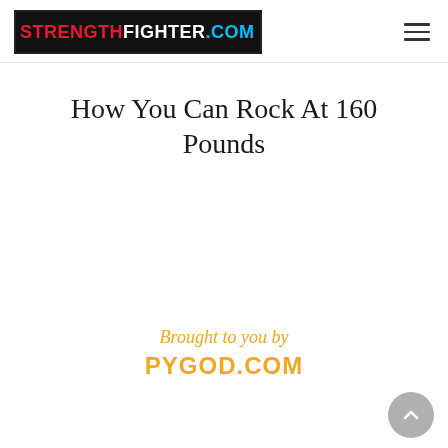STRENGTHFIGHTER.COM
How You Can Rock At 160 Pounds
Brought to you by PYGOD.COM